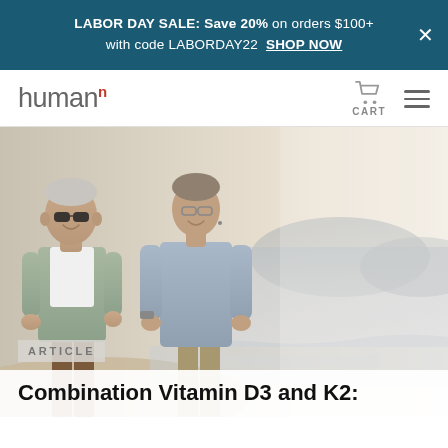LABOR DAY SALE: Save 20% on orders $100+ with code LABORDAY22 SHOP NOW
[Figure (logo): HumanN logo with superscript n in red, cart icon and hamburger menu on right]
[Figure (photo): Older couple walking together on a beach, smiling, with ocean and mountains in the background. Man wearing sunglasses and light green shirt, woman wearing light blue shirt.]
ARTICLE
Combination Vitamin D3 and K2: